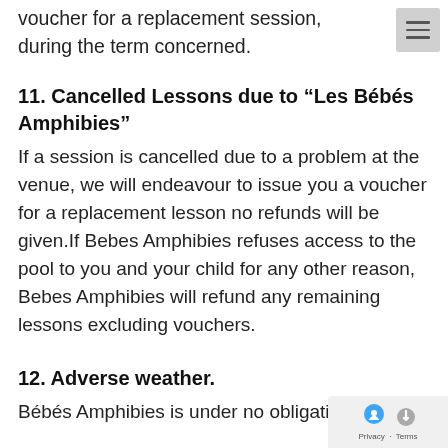voucher for a replacement session, during the term concerned.
11. Cancelled Lessons due to “Les Bébés Amphibies”
If a session is cancelled due to a problem at the venue, we will endeavour to issue you a voucher for a replacement lesson no refunds will be given.If Bebes Amphibies refuses access to the pool to you and your child for any other reason, Bebes Amphibies will refund any remaining lessons excluding vouchers.
12. Adverse weather.
Bébés Amphibies is under no obligation to